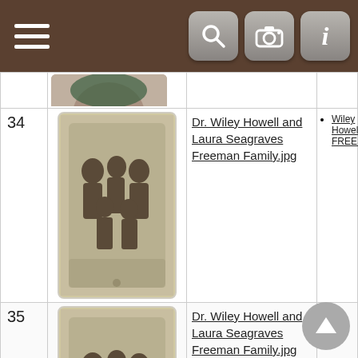[Figure (screenshot): Mobile app navigation bar with hamburger menu and search/camera/info icons on brown background]
| # | Image | Title | People |
| --- | --- | --- | --- |
|  | [portrait of woman - partial] |  |  |
| 34 | [old family portrait photo] | Dr. Wiley Howell and Laura Seagraves Freeman Family.jpg | Wiley Howell FREEMAN |
| 35 | [old family portrait photo] | Dr. Wiley Howell and Laura Seagraves Freeman Family.jpg |  |
| 36 | [Earline Tabor portrait photo] | Earline Tabor 1923-.png |  |
| 37 | [Edmund portrait - partial] | Edmund ... |  |
[Figure (other): Back to top circular button with upward arrow]